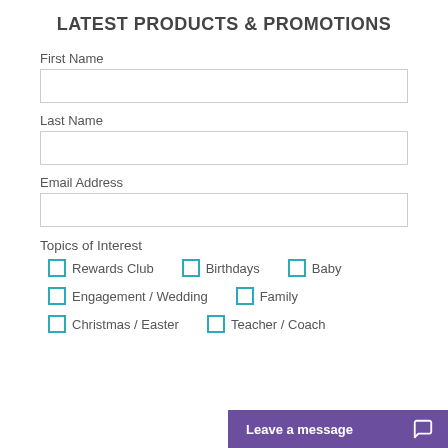LATEST PRODUCTS & PROMOTIONS
First Name
Last Name
Email Address
Topics of Interest
Rewards Club
Birthdays
Baby
Engagement / Wedding
Family
Christmas / Easter
Teacher / Coach